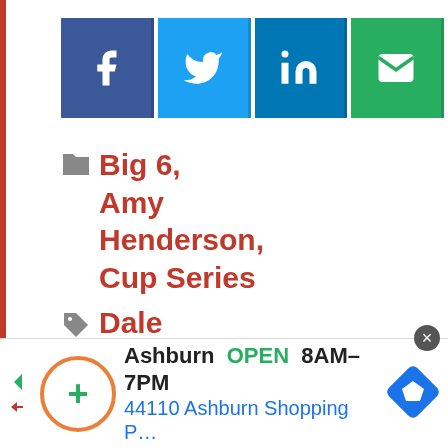[Figure (other): Social sharing buttons: Facebook (dark blue), Twitter (light blue), LinkedIn (dark blue), Email (green)]
Big 6, Amy Henderson, Cup Series
Dale Earnhardt Jr., Jeff Gordon, Jimmie Johnson, Marcos Ambrose
Pace Laps: Edwards' Jinx, RCR's
[Figure (other): Advertisement banner: Ashburn OPEN 8AM-7PM, 44110 Ashburn Shopping P..., with map pin icon and navigation arrows]